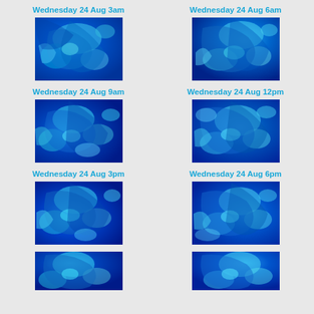Wednesday 24 Aug 3am
[Figure (map): Weather/oceanographic map showing blue contour patterns for Wednesday 24 Aug 3am]
Wednesday 24 Aug 6am
[Figure (map): Weather/oceanographic map showing blue contour patterns for Wednesday 24 Aug 6am]
Wednesday 24 Aug 9am
[Figure (map): Weather/oceanographic map showing blue contour patterns for Wednesday 24 Aug 9am]
Wednesday 24 Aug 12pm
[Figure (map): Weather/oceanographic map showing blue contour patterns for Wednesday 24 Aug 12pm]
Wednesday 24 Aug 3pm
[Figure (map): Weather/oceanographic map showing blue contour patterns for Wednesday 24 Aug 3pm]
Wednesday 24 Aug 6pm
[Figure (map): Weather/oceanographic map showing blue contour patterns for Wednesday 24 Aug 6pm]
[Figure (map): Weather/oceanographic map showing blue contour patterns (partially visible) bottom left]
[Figure (map): Weather/oceanographic map showing blue contour patterns (partially visible) bottom right]